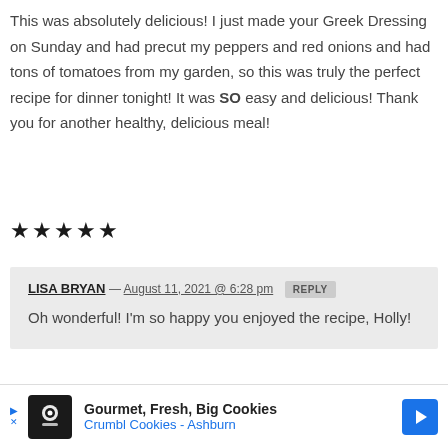This was absolutely delicious! I just made your Greek Dressing on Sunday and had precut my peppers and red onions and had tons of tomatoes from my garden, so this was truly the perfect recipe for dinner tonight! It was SO easy and delicious! Thank you for another healthy, delicious meal!
[Figure (other): Five filled black star rating icons representing 5 out of 5 stars]
LISA BRYAN — August 11, 2021 @ 6:28 pm  REPLY
Oh wonderful! I'm so happy you enjoyed the recipe, Holly!
[Figure (other): Advertisement banner for Crumbl Cookies - Ashburn: Gourmet, Fresh, Big Cookies]